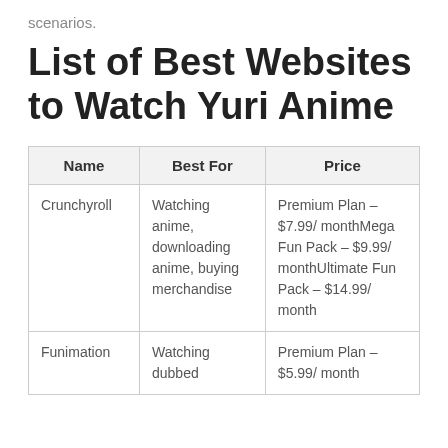scenarios.
List of Best Websites to Watch Yuri Anime
| Name | Best For | Price |
| --- | --- | --- |
| Crunchyroll | Watching anime, downloading anime, buying merchandise | Premium Plan – $7.99/ monthMega Fun Pack – $9.99/ monthUltimate Fun Pack – $14.99/ month |
| Funimation | Watching dubbed | Premium Plan – $5.99/ month |